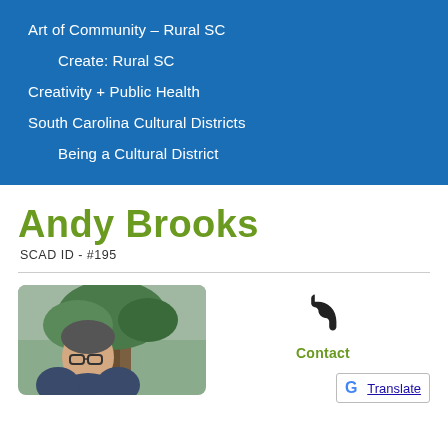Art of Community – Rural SC
Create: Rural SC
Creativity + Public Health
South Carolina Cultural Districts
Being a Cultural District
Andy Brooks
SCAD ID - #195
[Figure (photo): Photo of Andy Brooks, a man with glasses near a tree]
Contact
[Figure (logo): Google Translate button with G logo]